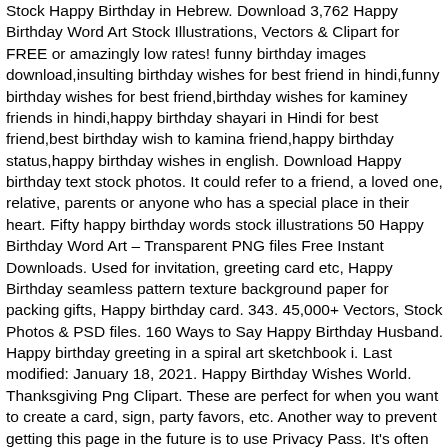Stock Happy Birthday in Hebrew. Download 3,762 Happy Birthday Word Art Stock Illustrations, Vectors & Clipart for FREE or amazingly low rates! funny birthday images download,insulting birthday wishes for best friend in hindi,funny birthday wishes for best friend,birthday wishes for kaminey friends in hindi,happy birthday shayari in Hindi for best friend,best birthday wish to kamina friend,happy birthday status,happy birthday wishes in english. Download Happy birthday text stock photos. It could refer to a friend, a loved one, relative, parents or anyone who has a special place in their heart. Fifty happy birthday words stock illustrations 50 Happy Birthday Word Art – Transparent PNG files Free Instant Downloads. Used for invitation, greeting card etc, Happy Birthday seamless pattern texture background paper for packing gifts, Happy birthday card. 343. 45,000+ Vectors, Stock Photos & PSD files. 160 Ways to Say Happy Birthday Husband. Happy birthday greeting in a spiral art sketchbook i. Last modified: January 18, 2021. Happy Birthday Wishes World. Thanksgiving Png Clipart. These are perfect for when you want to create a card, sign, party favors, etc. Another way to prevent getting this page in the future is to use Privacy Pass. It's often hard to find that perfect something for your husband on his birthday. ⬇ Download happy birthday word - stock images and